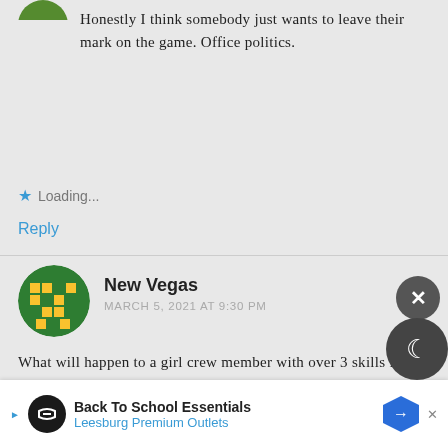Honestly I think somebody just wants to leave their mark on the game. Office politics.
Loading...
Reply
New Vegas
MARCH 5, 2021 AT 9:30 PM
What will happen to a girl crew member with over 3 skills in my barracks, that is loaded and does not fit anywhere but in that 1 premium tan... heh... rs
Back To School Essentials Leesburg Premium Outlets